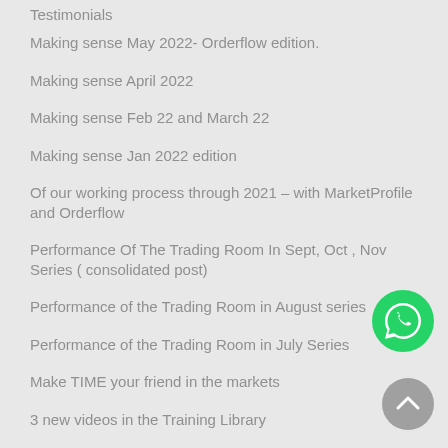Testimonials
Making sense May 2022- Orderflow edition.
Making sense April 2022
Making sense Feb 22 and March 22
Making sense Jan 2022 edition
Of our working process through 2021 – with MarketProfile and Orderflow
Performance Of The Trading Room In Sept, Oct , Nov Series ( consolidated post)
Performance of the Trading Room in August series
Performance of the Trading Room in July Series
Make TIME your friend in the markets
3 new videos in the Training Library
Performance of the Trading Room in the June 2021 series